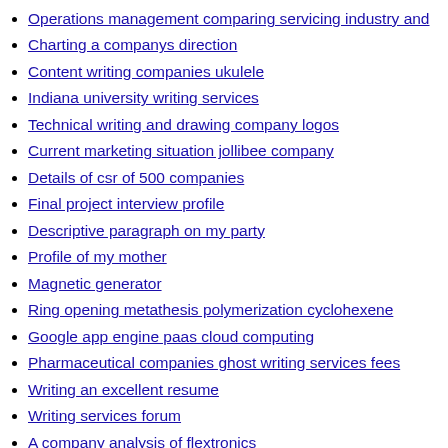Operations management comparing servicing industry and
Charting a companys direction
Content writing companies ukulele
Indiana university writing services
Technical writing and drawing company logos
Current marketing situation jollibee company
Details of csr of 500 companies
Final project interview profile
Descriptive paragraph on my party
Profile of my mother
Magnetic generator
Ring opening metathesis polymerization cyclohexene
Google app engine paas cloud computing
Pharmaceutical companies ghost writing services fees
Writing an excellent resume
Writing services forum
A company analysis of flextronics
Writing a circle equation worksheet